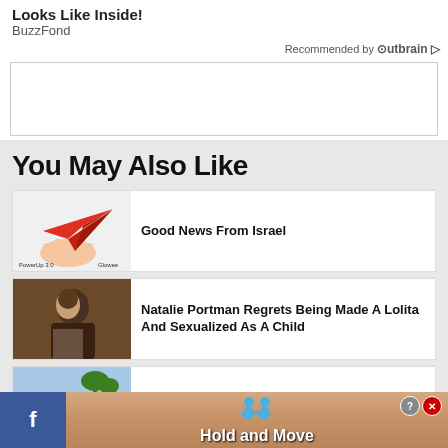Looks Like Inside!
BuzzFond
Recommended by Outbrain
[Figure (other): Advertisement box placeholder, white rectangle with border]
You May Also Like
[Figure (photo): Red paper airplane held by a hand, PowerUp 3.0 product image with Glowee label]
Good News From Israel
[Figure (photo): Young woman looking sideways in a dim room - Natalie Portman film still]
Natalie Portman Regrets Being Made A Lolita And Sexualized As A Child
[Figure (photo): Outdoor hotel scene with palm trees and pool]
Rating Israeli Hotels
[Figure (other): Bottom banner ad: Facebook share button on left, tan/beige ad with two blue cartoon figures and text Hold and Move, with help and close buttons]
Hold and Move